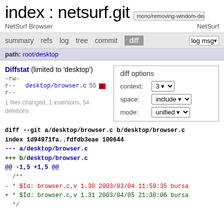index : netsurf.git  mono/removing-windom-depende...
NetSurf Browser   NetSurf
summary  refs  log  tree  commit  diff  log msg
path: root/desktop
Diffstat (limited to 'desktop')
-rw-r--r-- desktop/browser.c 55 [bar]
1 files changed, 1 insertions, 54 deletions
diff options
context: 3
space: include
mode: unified
diff --git a/desktop/browser.c b/desktop/browser.c
index 1d94971fa..fdfdb3eae 100644
--- a/desktop/browser.c
+++ b/desktop/browser.c
@@ -1,5 +1,5 @@
  /**
- * $Id: browser.c,v 1.30 2003/03/04 11:59:35 bursa
+ * $Id: browser.c,v 1.31 2003/04/05 21:38:06 bursa
   */